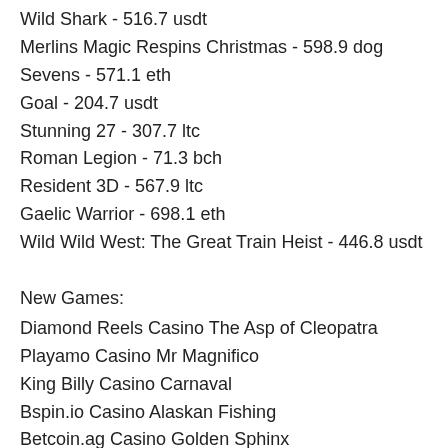Wild Shark - 516.7 usdt
Merlins Magic Respins Christmas - 598.9 dog
Sevens - 571.1 eth
Goal - 204.7 usdt
Stunning 27 - 307.7 ltc
Roman Legion - 71.3 bch
Resident 3D - 567.9 ltc
Gaelic Warrior - 698.1 eth
Wild Wild West: The Great Train Heist - 446.8 usdt
New Games:
Diamond Reels Casino The Asp of Cleopatra
Playamo Casino Mr Magnifico
King Billy Casino Carnaval
Bspin.io Casino Alaskan Fishing
Betcoin.ag Casino Golden Sphinx
Bitcasino.io Girls with Guns Frozen Dawn
BitStarz Casino Crystal Ball